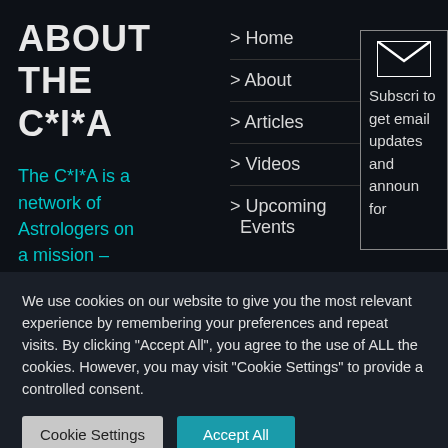ABOUT THE C*I*A
The C*I*A is a network of Astrologers on a mission –
> Home
> About
> Articles
> Videos
> Upcoming Events
[Figure (illustration): Envelope/mail icon inside a bordered box with subscribe text: Subscribe to get email updates and announcements for]
We use cookies on our website to give you the most relevant experience by remembering your preferences and repeat visits. By clicking "Accept All", you agree to the use of ALL the cookies. However, you may visit "Cookie Settings" to provide a controlled consent.
Cookie Settings
Accept All